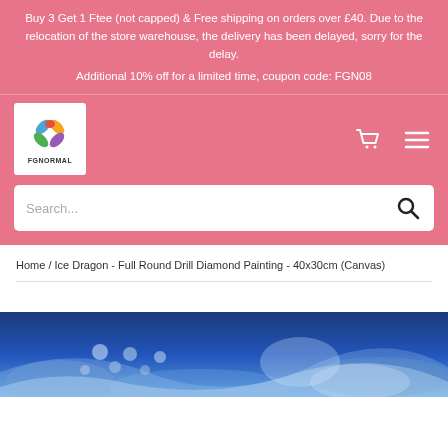Buy 3 Get 1 Ftee (not capped) & Free shipping on orders over £40. Due to the relocation of the store warehouse, the delivery has been delayed, sorry for the delay.

Additional 10% off for a limited time, coupon code: FGN08
[Figure (logo): FGNORMAL logo with colorful flower/petal design in blue, green, orange, red, purple colors, white background, text FGNORMAL below]
Home / Ice Dragon - Full Round Drill Diamond Painting - 40x30cm (Canvas)
[Figure (photo): Close-up photo of a blue ice dragon diamond painting artwork showing detailed scales and flame-like swirls in blue and white tones]